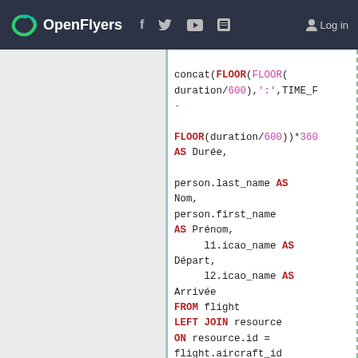OpenFlyers — website header with logo and navigation icons and Log in link
[Figure (screenshot): SQL code snippet showing a SELECT query with FLOOR, AS aliases, person/flight joins including LEFT JOIN resource, flight_pilot, person, location]
concat(FLOOR(duration/600),':',TIME_F
-
FLOOR(duration/600))*360
AS Durée,

person.last_name AS Nom,
person.first_name AS Prénom,
     l1.icao_name AS Départ,
     l2.icao_name AS Arrivée
FROM flight
LEFT JOIN resource
ON resource.id =
flight.aircraft_id
LEFT JOIN
flight_pilot ON
flight_pilot.flight_id
= flight.id
LEFT JOIN person ON
person.id =
flight_pilot.pilot_id
LEFT JOIN location
AS l1 ON l1.id =